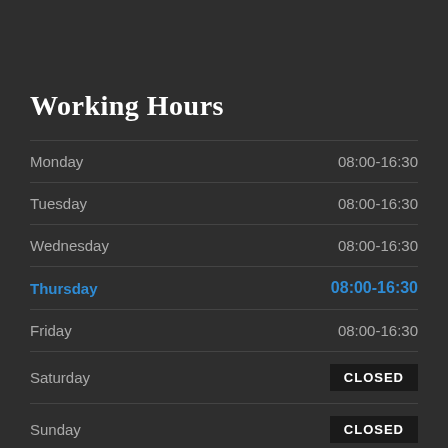Working Hours
| Day | Hours |
| --- | --- |
| Monday | 08:00-16:30 |
| Tuesday | 08:00-16:30 |
| Wednesday | 08:00-16:30 |
| Thursday | 08:00-16:30 |
| Friday | 08:00-16:30 |
| Saturday | CLOSED |
| Sunday | CLOSED |